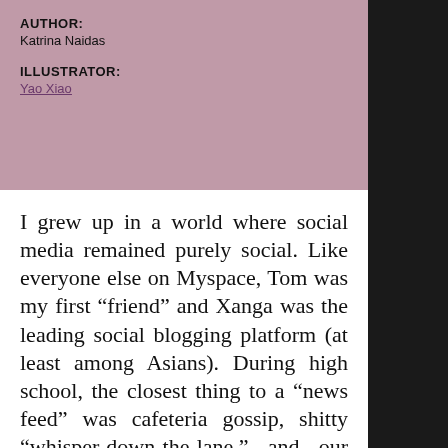AUTHOR:
Katrina Naidas
ILLUSTRATOR:
Yao Xiao
I grew up in a world where social media remained purely social. Like everyone else on Myspace, Tom was my first “friend” and Xanga was the leading social blogging platform (at least among Asians). During high school, the closest thing to a “news feed” was cafeteria gossip, shitty “whisper-down-the-lane,” and our fancy Razr flip phones. Today’s feed is a